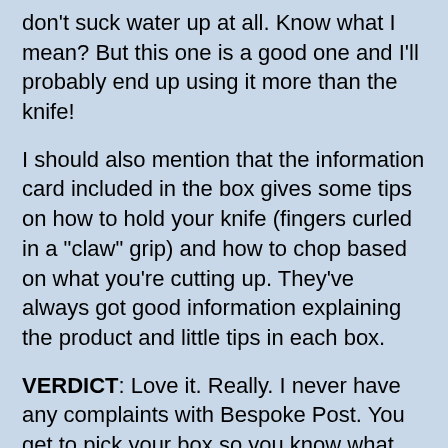don't suck water up at all. Know what I mean?  But this one is a good one and I'll probably end up using it more than the knife!
I should also mention that the information card included in the box gives some tips on how to hold your knife (fingers curled in a "claw" grip) and how to chop based on what you're cutting up. They've always got good information explaining the product and little tips in each box.
VERDICT:  Love it.  Really.  I never have any complaints with Bespoke Post.  You get to pick your box so you know what you're getting into when you sign up.  If you forget to make your choice, they'll pick one of the new boxes for you and then you'll be surprised but you don't need to be if you don't want to.  I'm really excited about my new knife.  I actually wish I could run over to my friends dads house and ask him to tell me what kind of steel it is.  He'd know.  He knows everything about knives and knife brands.  My other knives need sharpening, maybe I should.
If you would like to sign up for Bespoke Post, you can do that